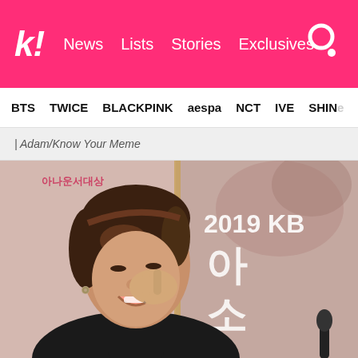k! News  Lists  Stories  Exclusives
BTS  TWICE  BLACKPINK  aespa  NCT  IVE  SHINee
| Adam/Know Your Meme
[Figure (photo): A young man with brown hair wearing a black outfit, laughing and touching his nose with his fingers. In the background is a 2019 KBS event banner with Korean text.]